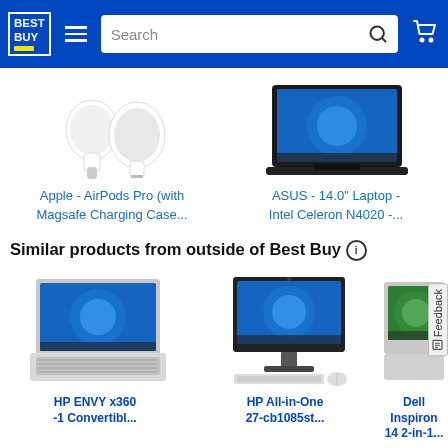Best Buy header with logo, hamburger menu, search bar, and cart icon
[Figure (photo): Apple AirPods Pro product image - white earbuds]
[Figure (photo): ASUS 14.0 inch laptop product image showing Windows 11 screen]
Apple - AirPods Pro (with Magsafe Charging Case...
ASUS - 14.0" Laptop - Intel Celeron N4020 -...
Similar products from outside of Best Buy ℹ
[Figure (photo): HP ENVY x360 laptop product image showing Windows 11 screen]
[Figure (photo): HP All-in-One 27-cb1085st product image showing Windows 11 screen with keyboard and mouse]
[Figure (photo): Dell Inspiron 14 2-in-1 laptop product image showing Windows 11 screen (partially visible)]
HP ENVY x360 -1 Convertibl...
HP All-in-One 27-cb1085st...
Dell Inspiron 14 2-in-1...